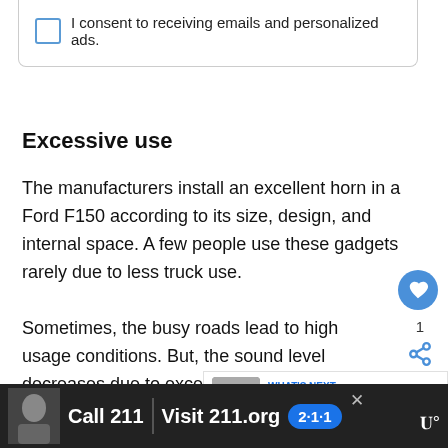I consent to receiving emails and personalized ads.
Excessive use
The manufacturers install an excellent horn in a Ford F150 according to its size, design, and internal space. A few people use these gadgets rarely due to less truck use.
Sometimes, the busy roads lead to high usage conditions. But, the sound level decreases due to excessive use and old age of equipment.
However, never press the button without app…he
[Figure (screenshot): Ad banner: Call 211 | Visit 211.org with 2-1-1 badge]